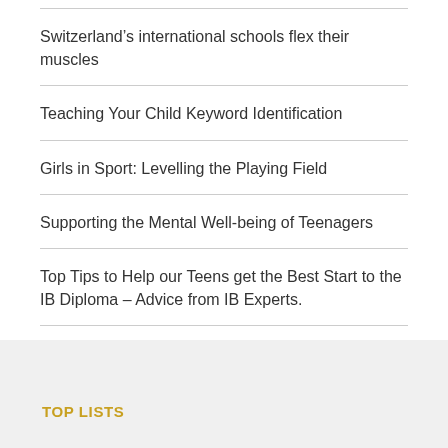Switzerland’s international schools flex their muscles
Teaching Your Child Keyword Identification
Girls in Sport: Levelling the Playing Field
Supporting the Mental Well-being of Teenagers
Top Tips to Help our Teens get the Best Start to the IB Diploma – Advice from IB Experts.
TOP LISTS